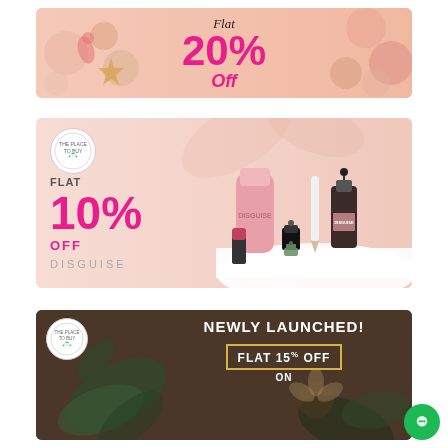[Figure (infographic): Promotional banner with pink/peach background showing summer accessories (phone case, ice creams, starfish, watermelon) and text 'Flat 20% Off' in italic/bold pink font]
[Figure (infographic): Promotional banner for DISGUISE cosmetics brand on peach background showing makeup products (lipstick, nail polish, serum, eyeshadow pencil) with text 'FLAT 10% OFF' in pink bold font and brand logo circle]
[Figure (infographic): Dark brown promotional banner with text 'NEWLY LAUNCHED! FLAT 15% OFF ON' with yellow-outlined box, brand logo circle on left, and botanical/herbal product imagery on right]